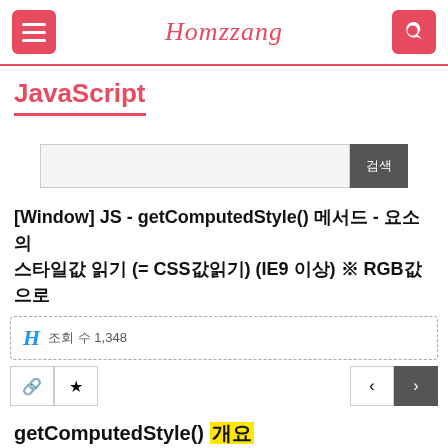Homzzang
JavaScript
[Figure (screenshot): Search input box with a dark gray search button labeled in Korean]
[Window] JS - getComputedStyle() 메서드 - 요소의 스타일값 읽기 (= CSS값읽기) (IE9 이상) ※ RGB값으로
H 조회 수 1,348
[Figure (screenshot): Action buttons row with share, bookmark icons on left and navigation arrows on right]
getComputedStyle() 개요